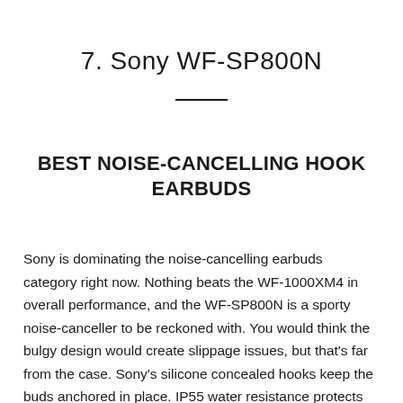7. Sony WF-SP800N
BEST NOISE-CANCELLING HOOK EARBUDS
Sony is dominating the noise-cancelling earbuds category right now. Nothing beats the WF-1000XM4 in overall performance, and the WF-SP800N is a sporty noise-canceller to be reckoned with. You would think the bulgy design would create slippage issues, but that's far from the case. Sony's silicone concealed hooks keep the buds anchored in place. IP55 water resistance protects the buds